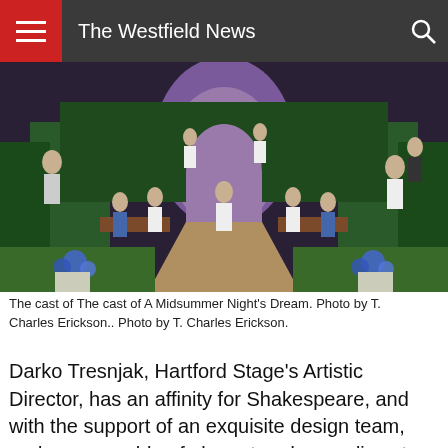The Westfield News
[Figure (photo): Stage photo of the cast of A Midsummer Night's Dream, showing a garden set with green hedges, a central pathway, and multiple actors on stage.]
The cast of The cast of A Midsummer Night's Dream. Photo by T. Charles Erickson.. Photo by T. Charles Erickson.
Darko Tresnjak, Hartford Stage's Artistic Director, has an affinity for Shakespeare, and with the support of an exquisite design team, and an ensemble of elegant and comedic actors and musicians, balances fast-paced comedy, vaudeville, and ethereal poetry into an